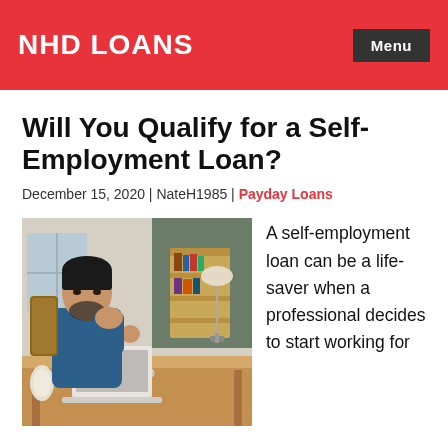NHD LOANS
Will You Qualify for a Self-Employment Loan?
December 15, 2020 | NateH1985 | Payday Loans
[Figure (photo): Man with beard sitting at desk looking at laptop, working from home with blueprints, coffee cup, and lamp visible]
A self-employment loan can be a life-saver when a professional decides to start working for